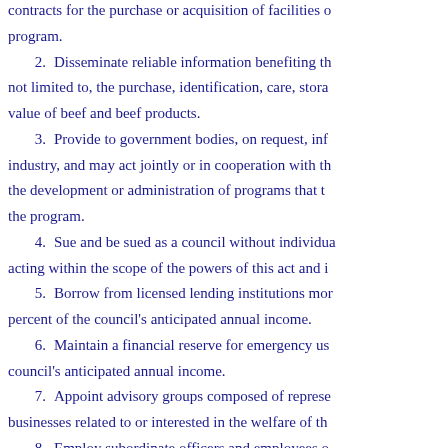contracts for the purchase or acquisition of facilities or program.
2. Disseminate reliable information benefiting the not limited to, the purchase, identification, care, storage value of beef and beef products.
3. Provide to government bodies, on request, information about the industry, and may act jointly or in cooperation with the government in the development or administration of programs that the program.
4. Sue and be sued as a council without individual liability acting within the scope of the powers of this act and i
5. Borrow from licensed lending institutions more than percent of the council's anticipated annual income.
6. Maintain a financial reserve for emergency use council's anticipated annual income.
7. Appoint advisory groups composed of representatives businesses related to or interested in the welfare of the
8. Employ subordinate officers and employees on compensation and terms of employment.
9. Cooperate with any local, state, regional, or national activities consistent with the objectives of the program
10. Cause any duly authorized agent or representative